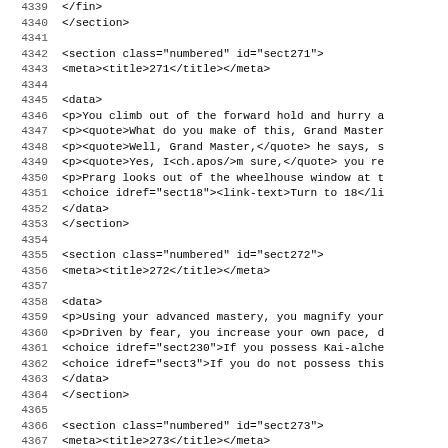Code listing lines 4339-4371 showing XML source with line numbers. Contains section elements for sect271, sect272, and sect273 with meta titles and data blocks.